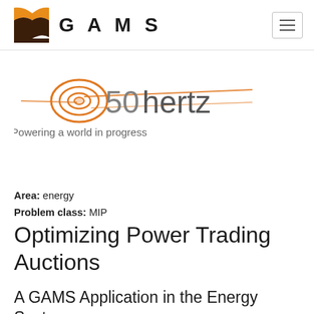GAMS
[Figure (logo): 50hertz logo with orange swirl graphic and tagline 'Powering a world in progress']
Area: energy
Problem class: MIP
Optimizing Power Trading Auctions
A GAMS Application in the Energy Sector